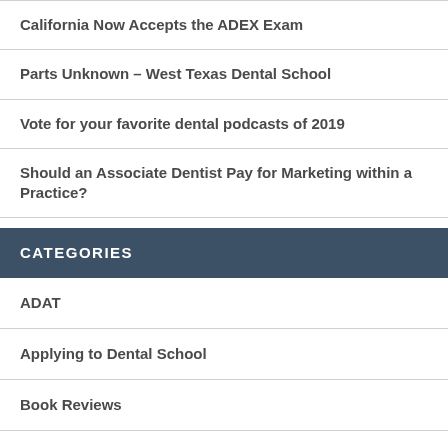California Now Accepts the ADEX Exam
Parts Unknown – West Texas Dental School
Vote for your favorite dental podcasts of 2019
Should an Associate Dentist Pay for Marketing within a Practice?
CATEGORIES
ADAT
Applying to Dental School
Book Reviews